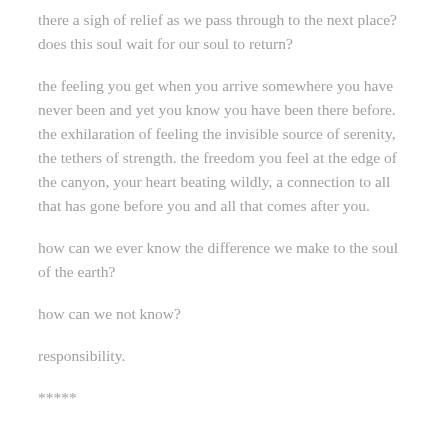there a sigh of relief as we pass through to the next place? does this soul wait for our soul to return?
the feeling you get when you arrive somewhere you have never been and yet you know you have been there before. the exhilaration of feeling the invisible source of serenity, the tethers of strength. the freedom you feel at the edge of the canyon, your heart beating wildly, a connection to all that has gone before you and all that comes after you.
how can we ever know the difference we make to the soul of the earth?
how can we not know?
responsibility.
*****